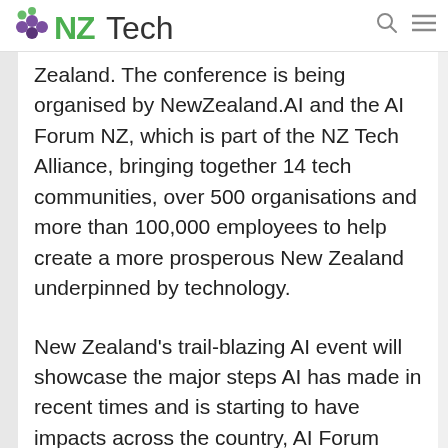NZTech
Zealand. The conference is being organised by NewZealand.AI and the AI Forum NZ, which is part of the NZ Tech Alliance, bringing together 14 tech communities, over 500 organisations and more than 100,000 employees to help create a more prosperous New Zealand underpinned by technology.
New Zealand's trail-blazing AI event will showcase the major steps AI has made in recent times and is starting to have impacts across the country, AI Forum New Zealand executive director Ben Reid says.
Some of the trail-blazing pioneers of AI at the event include Steven Guggenheimer,